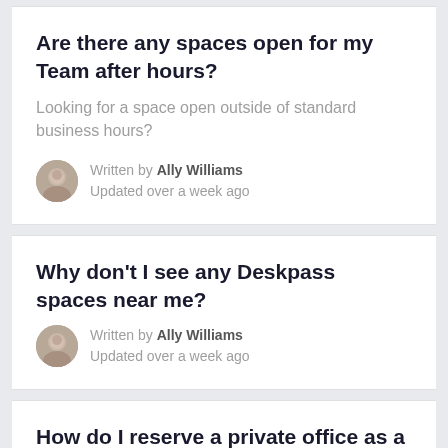Are there any spaces open for my Team after hours?
Looking for a space open outside of standard business hours?
Written by Ally Williams
Updated over a week ago
Why don't I see any Deskpass spaces near me?
Written by Ally Williams
Updated over a week ago
How do I reserve a private office as a Team Member?
Written by Ally Williams